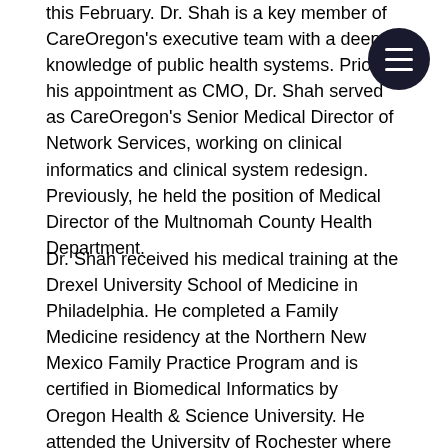this February. Dr. Shah is a key member of CareOregon's executive team with a deep knowledge of public health systems. Prior to his appointment as CMO, Dr. Shah served as CareOregon's Senior Medical Director of Network Services, working on clinical informatics and clinical system redesign. Previously, he held the position of Medical Director of the Multnomah County Health Department.
Dr. Shah received his medical training at the Drexel University School of Medicine in Philadelphia. He completed a Family Medicine residency at the Northern New Mexico Family Practice Program and is certified in Biomedical Informatics by Oregon Health & Science University. He attended the University of Rochester where he received his undergraduate degree in Molecular Genetics. Dr. Shah is Board Certified in Family Medicine, received his Oregon State Medical License in June 2000, and has been a member of the American Academy of Family Physicians since 1994. Dr. Shah has been a long-time advocate for Fora Health's work, and we are thrilled to welcome him to the Board!